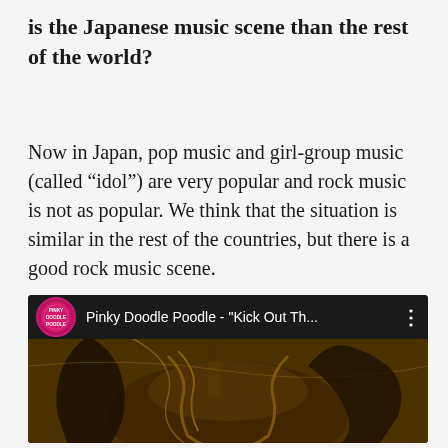is the Japanese music scene than the rest of the world?
Now in Japan, pop music and girl-group music (called “idol”) are very popular and rock music  is not as popular. We think that the situation is similar in the rest of the countries, but there is a good rock music scene.
[Figure (screenshot): YouTube video thumbnail for Pinky Doodle Poodle - "Kick Out Th..." showing a dark gold/sepia toned image of a guitar player]